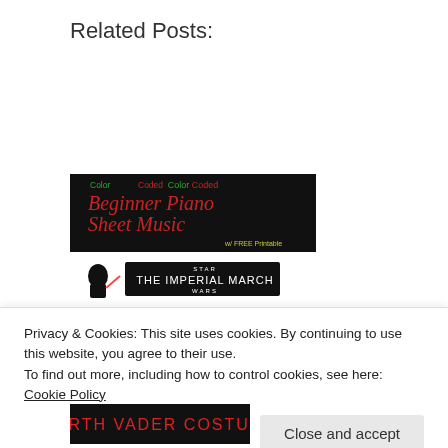Related Posts:
[Figure (illustration): Color Coded Beginner Piano Sheet Music with FREE Printable - dark background with colorful text]
[Figure (illustration): Star Wars The Imperial March logo with Darth Vader silhouette]
[Figure (illustration): Color-coded beginner piano sheet music notation on staff lines]
[Figure (illustration): Darth Vader Costume - text on dark background (partially visible)]
Privacy & Cookies: This site uses cookies. By continuing to use this website, you agree to their use.
To find out more, including how to control cookies, see here: Cookie Policy
Close and accept